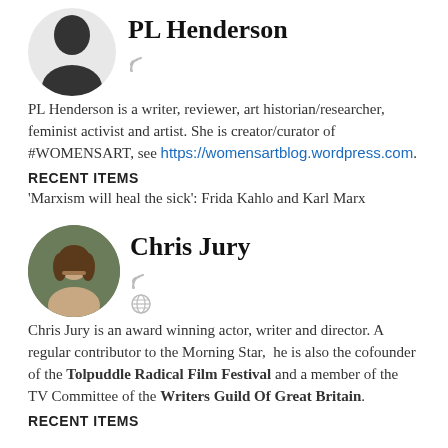[Figure (illustration): Circular avatar placeholder with silhouette of a person in grey/white, for PL Henderson]
PL Henderson
PL Henderson is a writer, reviewer, art historian/researcher, feminist activist and artist. She is creator/curator of #WOMENSART, see https://womensartblog.wordpress.com.
RECENT ITEMS
'Marxism will heal the sick': Frida Kahlo and Karl Marx
[Figure (photo): Circular profile photo of Chris Jury, a middle-aged man with beard and longer hair, outdoors background]
Chris Jury
Chris Jury is an award winning actor, writer and director. A regular contributor to the Morning Star, he is also the cofounder of the Tolpuddle Radical Film Festival and a member of the TV Committee of the Writers Guild Of Great Britain.
RECENT ITEMS